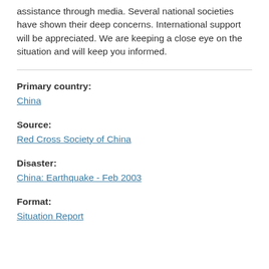assistance through media. Several national societies have shown their deep concerns. International support will be appreciated. We are keeping a close eye on the situation and will keep you informed.
Primary country:
China
Source:
Red Cross Society of China
Disaster:
China: Earthquake - Feb 2003
Format:
Situation Report